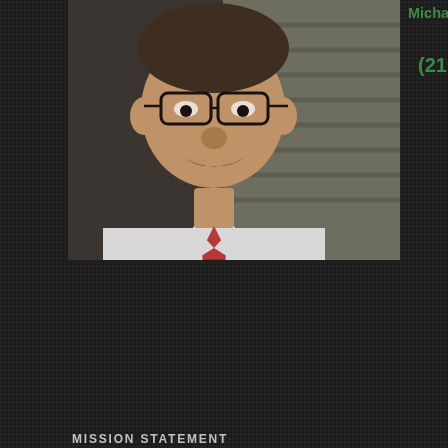[Figure (photo): Portrait photo of Michael Ketterman, CPA — a middle-aged man with glasses and a mustache wearing a white shirt and patterned tie, seated at a desk with blinds in the background.]
Michael Ketterman, CPA 6202 West Ave
(210) 377-3734
MISSION STATEMENT
My mission is to help clients maintain financial viability in the present, while taking a proactive approach to achieve future goals. This requires open communication to reach an understanding of my clients' needs through research and sound analysis. I am dedicated to meeting these goals with high standards of excellence and professionalism.
LOCATION
[Figure (map): A light-colored map area showing location for Michael Ketterman CPA office.]